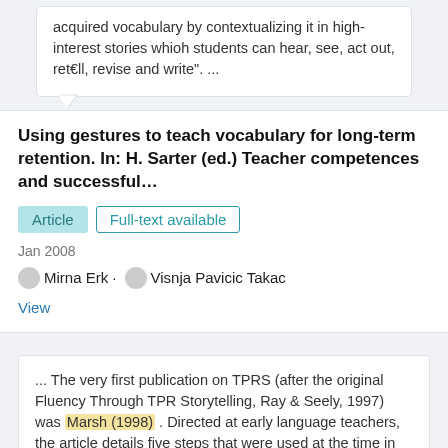acquired vocabulary by contextualizing it in high-interest stories whioh students can hear, see, act out, ret€ll, revise and write". ...
Using gestures to teach vocabulary for long-term retention. In: H. Sarter (ed.) Teacher competences and successful…
Article   Full-text available
Jan 2008
Mirna Erk · Visnja Pavicic Takac
View
... The very first publication on TPRS (after the original Fluency Through TPR Storytelling, Ray & Seely, 1997) was Marsh (1998) . Directed at early language teachers, the article details five steps that were used at the time in TPRS: TPR, paired student TPR practice, teacher-led mini-story, teacher-led longer story, and original student stories. ...